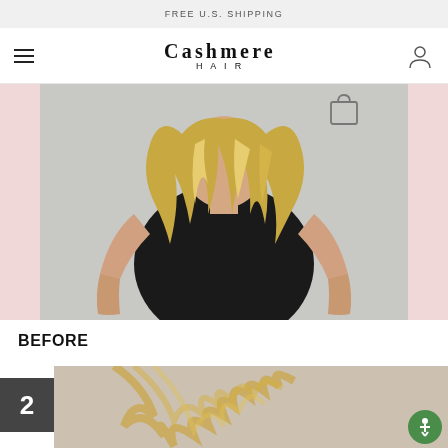FREE U.S. SHIPPING
CASHMERE
HAIR
[Figure (photo): Back view of woman with long wavy blonde hair wearing black sleeveless top, before hair extension photo]
BEFORE
[Figure (photo): Step 2 - partial view of blonde hair, beginning of after transformation]